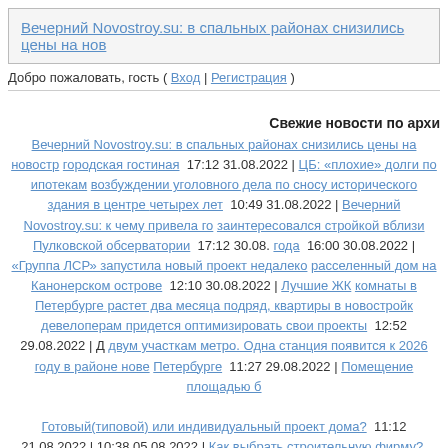[Figure (screenshot): Banner with link: Вечерний Novostroy.su: в спальных районах снизились цены на нов...]
Добро пожаловать, гость ( Вход | Регистрация )
Свежие новости по архи
Вечерний Novostroy.su: в спальных районах снизились цены на новостр... городская гостиная 17:12 31.08.2022 | ЦБ: «плохие» долги по ипотекам... возбуждении уголовного дела по сносу исторического здания в центре ... четырех лет 10:49 31.08.2022 | Вечерний Novostroy.su: к чему привела го... заинтересовался стройкой вблизи Пулковской обсерватории 17:12 30.08.... года 16:00 30.08.2022 | «Группа ЛСР» запустила новый проект недалеко... расселенный дом на Канонерском острове 12:10 30.08.2022 | Лучшие ЖК... комнаты в Петербурге растет два месяца подряд, квартиры в новостройк... девелоперам придется оптимизировать свои проекты 12:52 29.08.2022 | Д... двум участкам метро. Одна станция появится к 2026 году в районе нове... Петербурге 11:27 29.08.2022 | Помещение площадью б...
Готовый(типовой) или индивидуальный проект дома? 11:12 21.08.2022 | 10:38 05.08.2022 | Как выбрать строительную фирму? 07:30 03.08.2022 | Как... 03.08.2022 | Как выбрать строительную фирму? 07:26 03.08.2022 | Как вы... 27.07.2022 | Сваи...
Категории: Технологии | Жизнь и ...